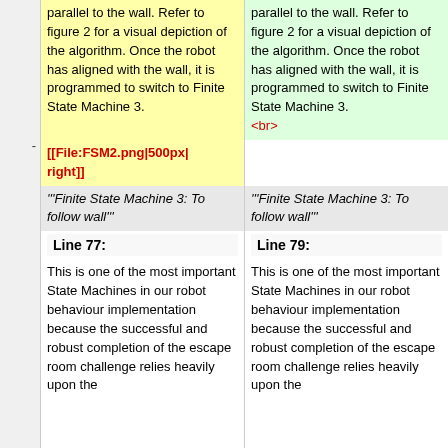parallel to the wall. Refer to figure 2 for a visual depiction of the algorithm. Once the robot has aligned with the wall, it is programmed to switch to Finite State Machine 3.
parallel to the wall. Refer to figure 2 for a visual depiction of the algorithm. Once the robot has aligned with the wall, it is programmed to switch to Finite State Machine 3. <br>
[[File:FSM2.png|500px|right]]
'''Finite State Machine 3: To follow wall'''
'''Finite State Machine 3: To follow wall'''
Line 77:
Line 79:
This is one of the most important State Machines in our robot behaviour implementation because the successful and robust completion of the escape room challenge relies heavily upon the
This is one of the most important State Machines in our robot behaviour implementation because the successful and robust completion of the escape room challenge relies heavily upon the